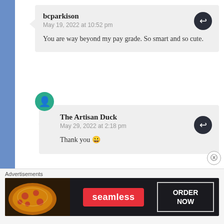bcparkison
May 19, 2022 at 10:52 pm

You are way beyond my pay grade. So smart and so cute.
[Figure (illustration): Teal/green circular avatar icon with a person silhouette]
The Artisan Duck
May 29, 2022 at 2:18 pm

Thank you 😀
Advertisements
[Figure (photo): Seamless food delivery advertisement banner showing pizza slices on the left, 'seamless' red badge in the center, and 'ORDER NOW' button on the right against a dark background.]